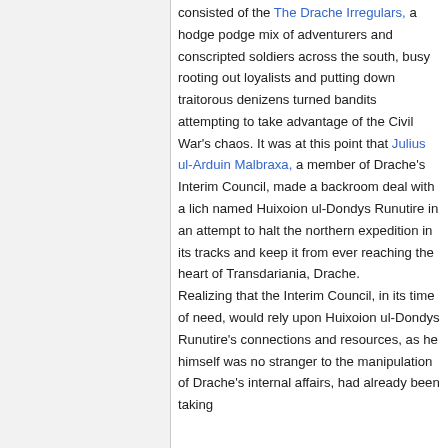consisted of the The Drache Irregulars, a hodge podge mix of adventurers and conscripted soldiers across the south, busy rooting out loyalists and putting down traitorous denizens turned bandits attempting to take advantage of the Civil War's chaos. It was at this point that Julius ul-Arduin Malbraxa, a member of Drache's Interim Council, made a backroom deal with a lich named Huixoion ul-Dondys Runutire in an attempt to halt the northern expedition in its tracks and keep it from ever reaching the heart of Transdariania, Drache.

Realizing that the Interim Council, in its time of need, would rely upon Huixoion ul-Dondys Runutire's connections and resources, as he himself was no stranger to the manipulation of Drache's internal affairs, had already been taking